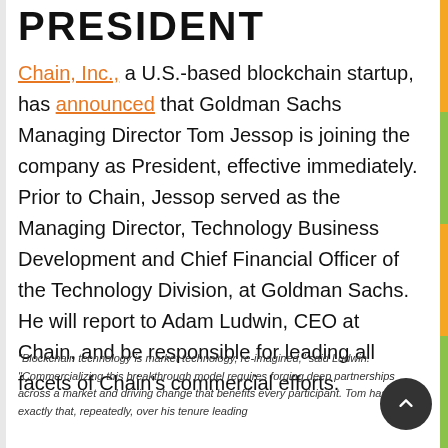PRESIDENT
Chain, Inc., a U.S.-based blockchain startup, has announced that Goldman Sachs Managing Director Tom Jessop is joining the company as President, effective immediately. Prior to Chain, Jessop served as the Managing Director, Technology Business Development and Chief Financial Officer of the Technology Division, at Goldman Sachs. He will report to Adam Ludwin, CEO at Chain, and be responsible for leading all facets of Chain's commercial efforts.
"Blockchain technology is market technology, re-imagined," said Ludwin. "Commercializing this breakthrough model requires forging deep partnerships across a market and driving change that benefits every participant. Tom has done exactly that, repeatedly, over his tenure leading